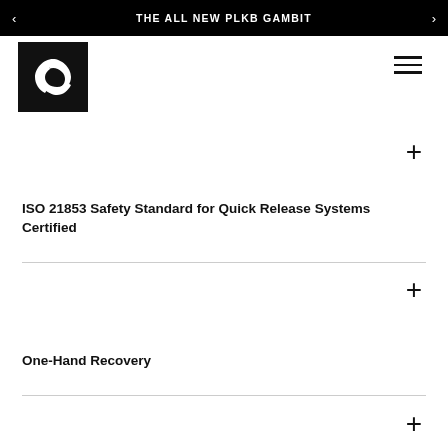THE ALL NEW PLKB GAMBIT
[Figure (logo): PLKB spiral logo in black and white square]
ISO 21853 Safety Standard for Quick Release Systems Certified
One-Hand Recovery